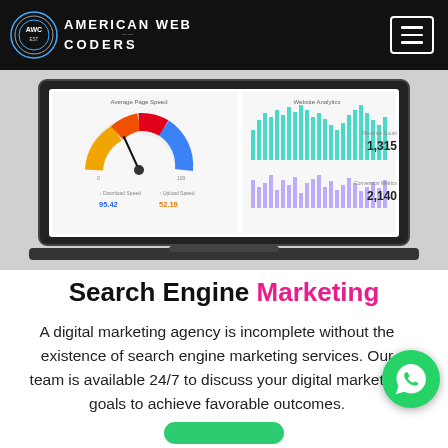American Web Coders
[Figure (screenshot): Laptop screen showing analytics dashboard with speedometer gauge chart, bar charts for website analytics showing values 1,315 and 2,140]
Search Engine Marketing
A digital marketing agency is incomplete without the existence of search engine marketing services. Our team is available 24/7 to discuss your digital marketing goals to achieve favorable outcomes.
[Figure (logo): WhatsApp contact button (green circle with phone icon)]